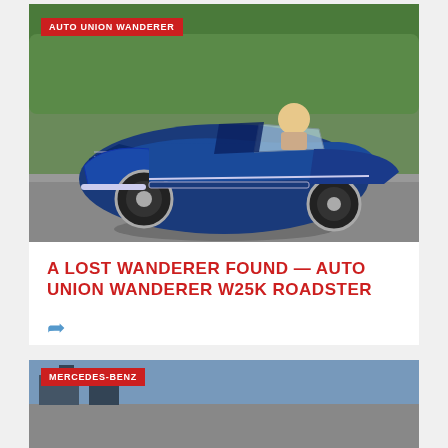[Figure (photo): Blue vintage Auto Union Wanderer W25K Roadster convertible car being driven on a road, with green hedges and trees in background, driver visible]
AUTO UNION WANDERER
A LOST WANDERER FOUND — AUTO UNION WANDERER W25K ROADSTER
[Figure (photo): Partial view of a second car article image, cut off at bottom of page]